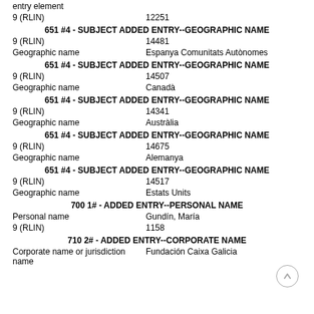entry element
9 (RLIN)    12251
651 #4 - SUBJECT ADDED ENTRY--GEOGRAPHIC NAME
9 (RLIN)    14481
Geographic name    Espanya Comunitats Autònomes
651 #4 - SUBJECT ADDED ENTRY--GEOGRAPHIC NAME
9 (RLIN)    14507
Geographic name    Canadà
651 #4 - SUBJECT ADDED ENTRY--GEOGRAPHIC NAME
9 (RLIN)    14341
Geographic name    Austràlia
651 #4 - SUBJECT ADDED ENTRY--GEOGRAPHIC NAME
9 (RLIN)    14675
Geographic name    Alemanya
651 #4 - SUBJECT ADDED ENTRY--GEOGRAPHIC NAME
9 (RLIN)    14517
Geographic name    Estats Units
700 1# - ADDED ENTRY--PERSONAL NAME
Personal name    Gundín, María
9 (RLIN)    1158
710 2# - ADDED ENTRY--CORPORATE NAME
Corporate name or jurisdiction name    Fundación Caixa Galicia